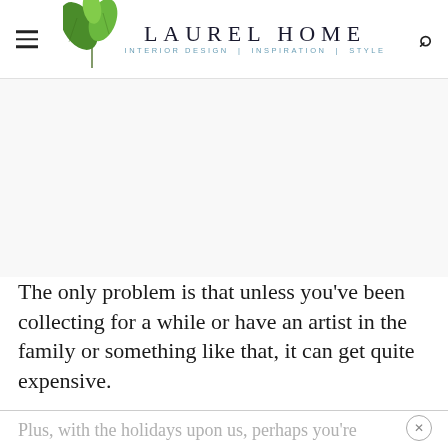LAUREL HOME | INTERIOR DESIGN | INSPIRATION | STYLE
[Figure (other): Large white advertisement/blank area below the header]
The only problem is that unless you've been collecting for a while or have an artist in the family or something like that, it can get quite expensive.
Plus, with the holidays upon us, perhaps you're